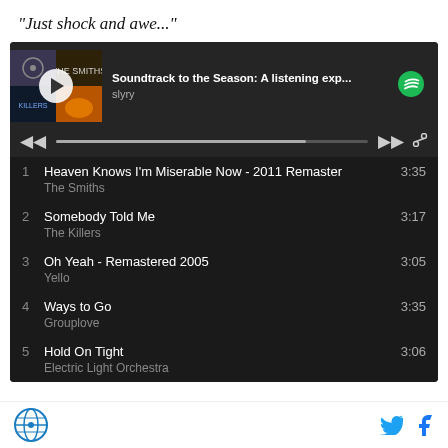“Just shock and awe...”
[Figure (screenshot): Spotify embedded playlist widget showing 'Soundtrack to the Season: A listening exp...' by slyry, with album art collage, play button, progress bar, and track list including: 1. Heaven Knows I'm Miserable Now - 2011 Remaster by The Smiths (3:35), 2. Somebody Told Me by The Killers (3:17), 3. Oh Yeah - Remastered 2005 by Yello (3:05), 4. Ways to Go by Grouplove (3:35), 5. Hold On Tight by Electric Light Orchestra (3:06)]
Logo icon, Twitter icon, Facebook icon